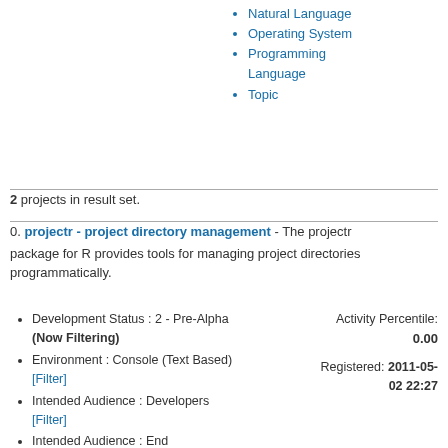Natural Language
Operating System
Programming Language
Topic
2 projects in result set.
0. projectr - project directory management - The projectr package for R provides tools for managing project directories programmatically.
Development Status : 2 - Pre-Alpha (Now Filtering)
Environment : Console (Text Based) [Filter]
Intended Audience : Developers [Filter]
Intended Audience : End Users/Desktop [Filter]
License : Other/Proprietary License [Filter]
Natural Language : English (Now Filtering)
Programming Language : R (Now Filtering)
Topic : Other/Nonlisted Topic [Filter]
Activity Percentile: 0.00
Registered: 2011-05-02 22:27